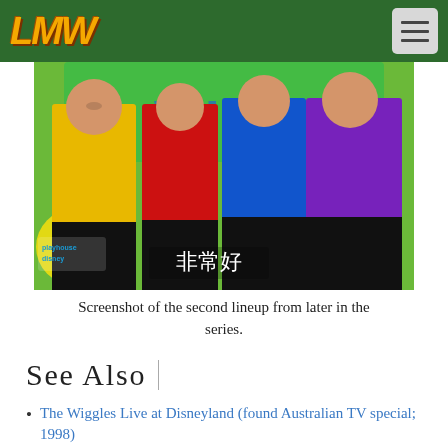LMW (logo) — navigation header
[Figure (screenshot): Screenshot of four people in yellow, red, blue, and purple Wiggles costumes on a colorful stage set, with Chinese text '非常好' (meaning 'Very good') subtitled at the bottom, and a Playhouse Disney logo in the lower left corner.]
Screenshot of the second lineup from later in the series.
See Also
The Wiggles Live at Disneyland (found Australian TV special; 1998)